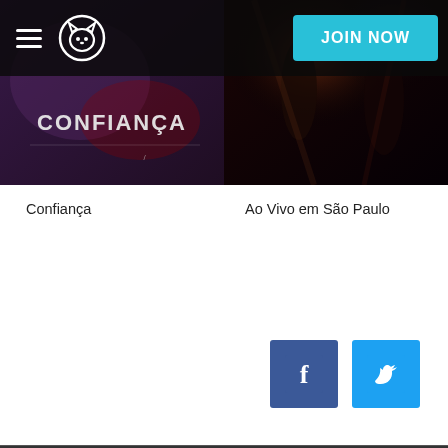Napster — JOIN NOW
[Figure (photo): Album cover for 'Confiança' — dark background with stylized text 'CONFIANÇA']
[Figure (photo): Album cover for 'Ao Vivo em São Paulo' — dark live performance photo]
Confiança
Ao Vivo em São Paulo
[Figure (logo): Facebook logo icon (blue square with white 'f')]
[Figure (logo): Twitter logo icon (cyan square with white bird)]
© 2022 Rhapsody International Inc., a subsidiary of Napster Group PLC. All rights reserved. Napster and the Napster logo are registered trademarks of Rhapsody International Inc.
Terms of Use | Privacy Policy | End User Agreement
English